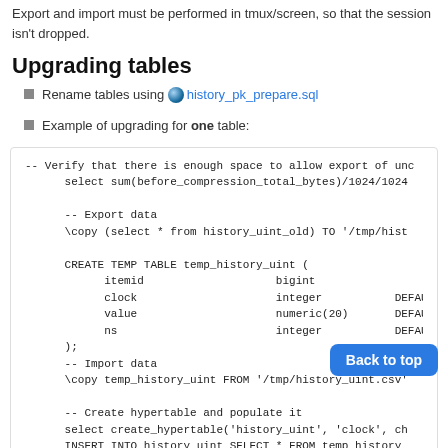Export and import must be performed in tmux/screen, so that the session isn't dropped.
Upgrading tables
Rename tables using 🌐 history_pk_prepare.sql
Example of upgrading for one table:
-- Verify that there is enough space to allow export of undo
	select sum(before_compression_total_bytes)/1024/1024

	-- Export data
	\copy (select * from history_uint_old) TO '/tmp/hist

	CREATE TEMP TABLE temp_history_uint (
		itemd      bigint
		clock      integer        DEFAULT
		value      numeric(20)   DEFAULT
		ns         integer        DEFAULT
	);
	-- Import data
	\copy temp_history_uint FROM '/tmp/history_uint.csv'

	-- Create hypertable and populate it
	select create_hypertable('history_uint', 'clock', ch
	INSERT INTO history_uint SELECT * FROM temp_history_